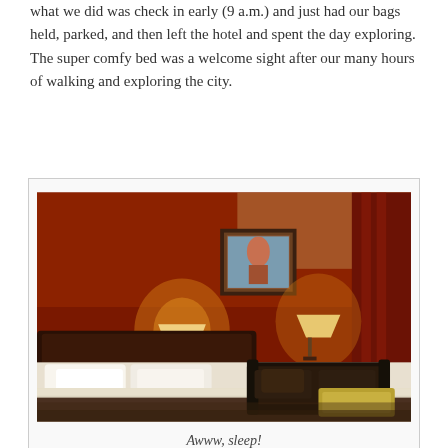what we did was check in early (9 a.m.) and just had our bags held, parked, and then left the hotel and spent the day exploring.  The super comfy bed was a welcome sight after our many hours of walking and exploring the city.
[Figure (photo): Hotel room with a large king bed with white bedding, dark wooden headboard, two nightstand lamps glowing amber, a leather sofa and ottoman, a framed artwork on the wall, and red curtains. The room has warm orange-red and brown tones.]
Awww, sleep!